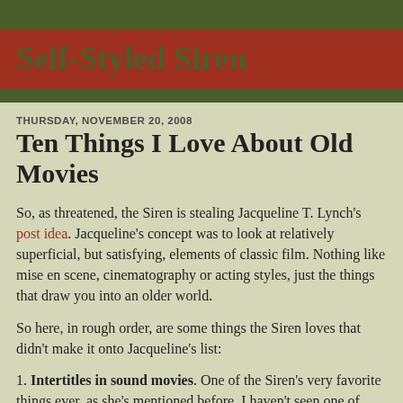Self-Styled Siren
THURSDAY, NOVEMBER 20, 2008
Ten Things I Love About Old Movies
So, as threatened, the Siren is stealing Jacqueline T. Lynch's post idea. Jacqueline's concept was to look at relatively superficial, but satisfying, elements of classic film. Nothing like mise en scene, cinematography or acting styles, just the things that draw you into an older world.
So here, in rough order, are some things the Siren loves that didn't make it onto Jacqueline's list:
1. Intertitles in sound movies. One of the Siren's very favorite things ever, as she's mentioned before. I haven't seen one of these since Star Wars, and that wasn't strictly an intertitle since it was at the beginning. Do they just assume